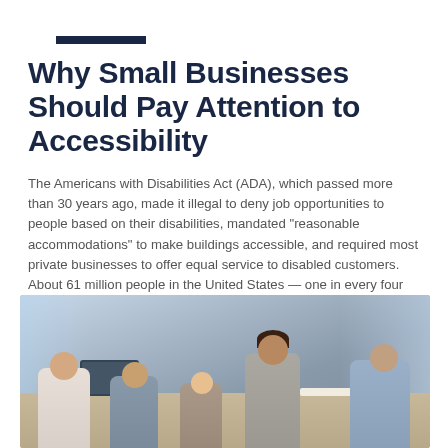Why Small Businesses Should Pay Attention to Accessibility
The Americans with Disabilities Act (ADA), which passed more than 30 years ago, made it illegal to deny job opportunities to people based on their disabilities, mandated “reasonable accommodations” to make buildings accessible, and required most private businesses to offer equal service to disabled customers. About 61 million people in the United States — one in every four adults — live with a disability.¹
[Figure (photo): A diverse group of people seated around a conference table in a modern office setting, appearing to be in a business meeting. One person has a laptop open.]